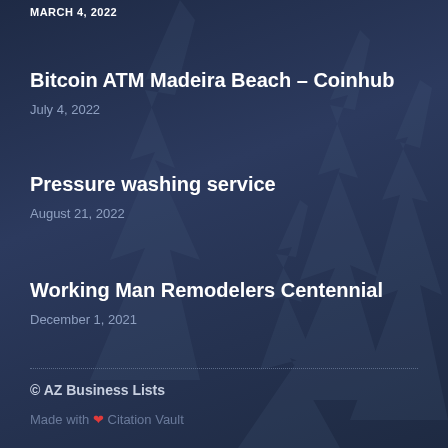MARCH 4, 2022
Bitcoin ATM Madeira Beach – Coinhub
July 4, 2022
Pressure washing service
August 21, 2022
Working Man Remodelers Centennial
December 1, 2021
© AZ Business Lists
Made with ❤ Citation Vault